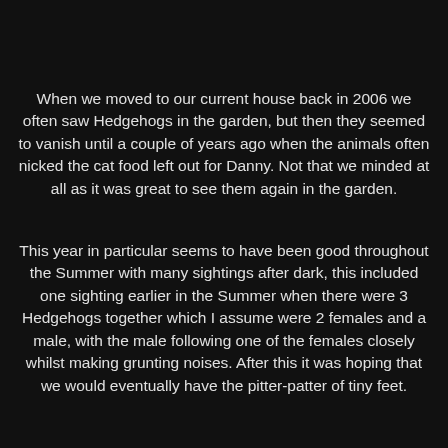When we moved to our current house back in 2006 we often saw Hedgehogs in the garden, but then they seemed to vanish until a couple of years ago when the animals often nicked the cat food left out for Danny. Not that we minded at all as it was great to see them again in the garden.
This year in particular seems to have been good throughout the Summer with many sightings after dark, this included one sighting earlier in the Summer when there were 3 Hedgehogs together which I assume were 2 females and a male, with the male following one of the females closely whilst making grunting noises. After this it was hoping that we would eventually have the pitter-patter of tiny feet.